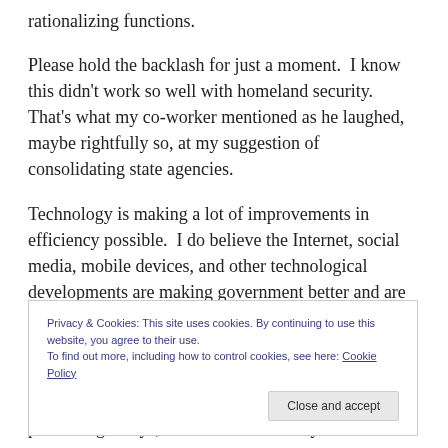rationalizing functions.
Please hold the backlash for just a moment.  I know this didn't work so well with homeland security.  That's what my co-worker mentioned as he laughed, maybe rightfully so, at my suggestion of consolidating state agencies.
Technology is making a lot of improvements in efficiency possible.  I do believe the Internet, social media, mobile devices, and other technological developments are making government better and are helping people get
Privacy & Cookies: This site uses cookies. By continuing to use this website, you agree to their use.
To find out more, including how to control cookies, see here: Cookie Policy
processing delays, and the inconsistency in customer